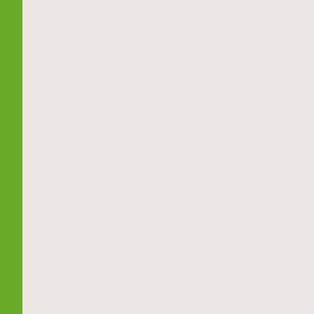The need for the complet missionaries, led to the embarked on intensive sig
In carrying out the duties inaugurated a policy of en Equity in Bonny in 1854 Brass, Okrika and Opobo
British Treaty
A British treaty with the King Protection and their properly on the Opobo River, R. D. B
(FO 93/6/16 in Jaja, 1991: 7
For all practical purposes disputes and the collectio abolished in 1885, followi rulers, its influence remai
The appointment of cons Ukom, for example, clous